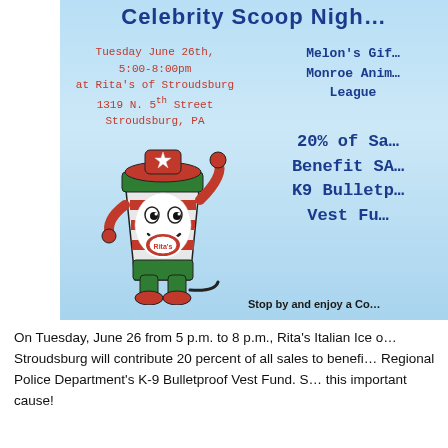[Figure (illustration): Rita's Italian Ice promotional flyer with blue background. Shows Rita's mascot character (a smiling Italian ice cup with arms, legs, and a hat), event details in red and dark blue monospace text, and promotional text about 20% of sales benefiting SA K9 Bulletproof Vest Fund.]
On Tuesday, June 26 from 5 p.m. to 8 p.m., Rita's Italian Ice of Stroudsburg will contribute 20 percent of all sales to benefit Regional Police Department's K-9 Bulletproof Vest Fund. Stop by and enjoy a Co... this important cause!